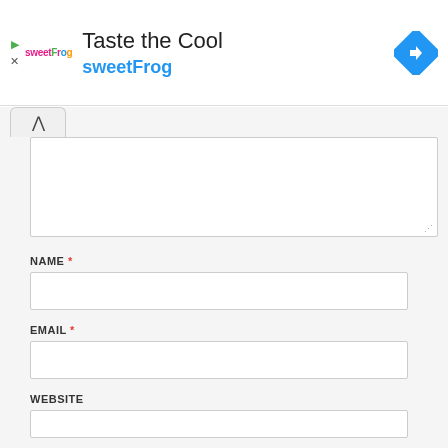[Figure (screenshot): sweetFrog ad banner with logo, 'Taste the Cool' title, 'sweetFrog' subtitle in blue, and a blue navigation diamond icon on the right]
Taste the Cool
sweetFrog
NAME *
EMAIL *
WEBSITE